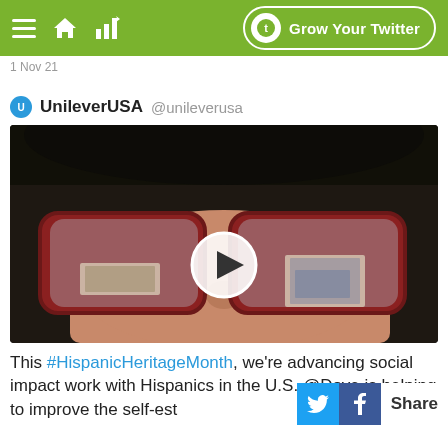Grow Your Twitter
1 Nov 21
UnileverUSA @unileverusa
[Figure (photo): Close-up photo of a person wearing red-framed glasses with photographs reflected in the lenses. A circular play button overlay is centered on the image.]
This #HispanicHeritageMonth, we're advancing social impact work with Hispanics in the U.S. @Dove is helping to improve the self-est